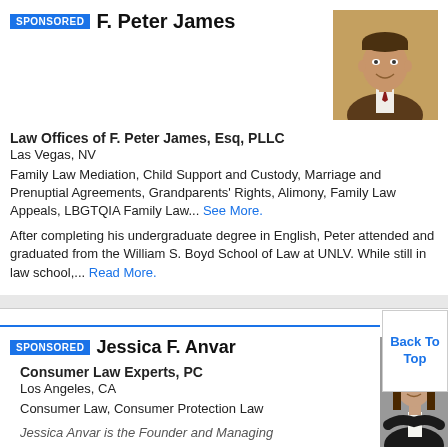SPONSORED  F. Peter James
Law Offices of F. Peter James, Esq, PLLC
Las Vegas, NV
Family Law Mediation, Child Support and Custody, Marriage and Prenuptial Agreements, Grandparents' Rights, Alimony, Family Law Appeals, LBGTQIA Family Law... See More.
After completing his undergraduate degree in English, Peter attended and graduated from the William S. Boyd School of Law at UNLV. While still in law school,... Read More.
[Figure (photo): Professional headshot of F. Peter James, a man in a suit with a tie]
SPONSORED  Jessica F. Anvar
Consumer Law Experts, PC
Los Angeles, CA
Consumer Law, Consumer Protection Law
Jessica Anvar is the Founder and Managing
[Figure (photo): Professional photo of Jessica F. Anvar, a woman in a black blazer with arms crossed]